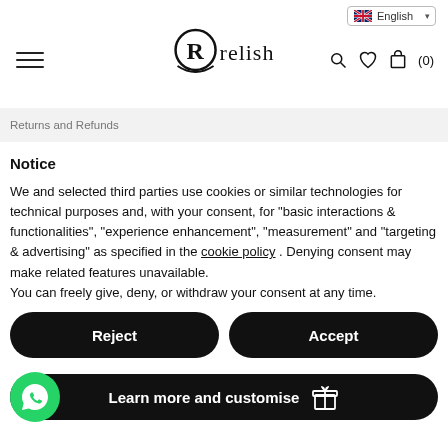English | relish | (0)
Returns and Refunds
Notice
We and selected third parties use cookies or similar technologies for technical purposes and, with your consent, for "basic interactions & functionalities", "experience enhancement", "measurement" and "targeting & advertising" as specified in the cookie policy . Denying consent may make related features unavailable.
You can freely give, deny, or withdraw your consent at any time.
Reject
Accept
Learn more and customise